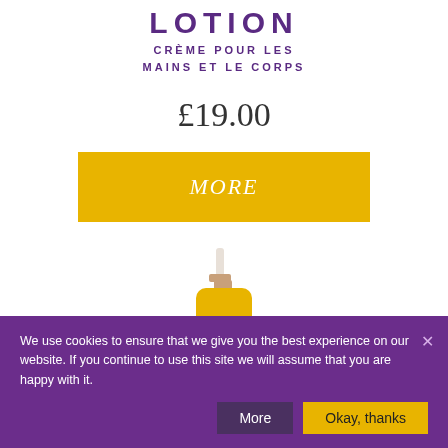LOTION
CRÈME POUR LES MAINS ET LE CORPS
£19.00
More
[Figure (photo): A yellow pump-dispenser lotion bottle with a pink label featuring a gold emblem, branded Jersey Lavender]
We use cookies to ensure that we give you the best experience on our website. If you continue to use this site we will assume that you are happy with it.
More
Okay, thanks